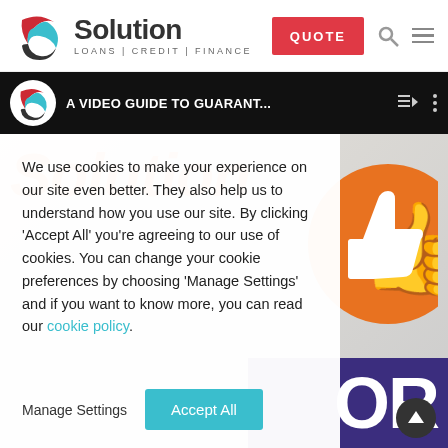[Figure (logo): Solution Loans Credit Finance logo with red, teal, and dark grey swirl icon]
Solution LOANS | CREDIT | FINANCE
[Figure (screenshot): Video guide bar showing 'A VIDEO GUIDE TO GUARANT...' with playlist and options icons on dark background]
[Figure (screenshot): Background showing orange Solution text, thumbs up icon on orange circle, and purple OR text]
We use cookies to make your experience on our site even better. They also help us to understand how you use our site. By clicking 'Accept All' you're agreeing to our use of cookies. You can change your cookie preferences by choosing 'Manage Settings' and if you want to know more, you can read our cookie policy.
Manage Settings
Accept All